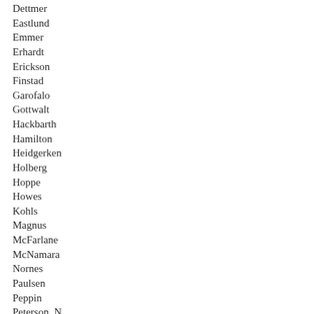Dettmer
Eastlund
Emmer
Erhardt
Erickson
Finstad
Garofalo
Gottwalt
Hackbarth
Hamilton
Heidgerken
Holberg
Hoppe
Howes
Kohls
Magnus
McFarlane
McNamara
Nornes
Paulsen
Peppin
Peterson, N.
Ruth
Seifert
Severson
Shimanski
Simpson
Smith
Sviggum
Tingelstad